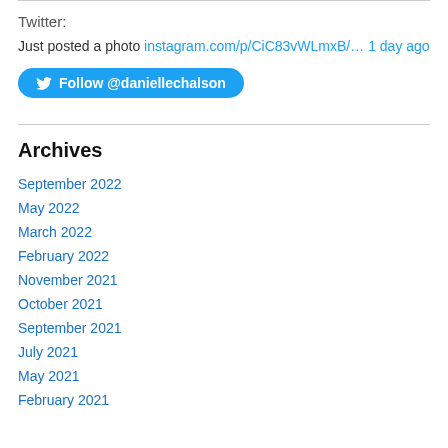Twitter:
Just posted a photo instagram.com/p/CiC83vWLmxB/… 1 day ago
Follow @daniellechalson
Archives
September 2022
May 2022
March 2022
February 2022
November 2021
October 2021
September 2021
July 2021
May 2021
February 2021